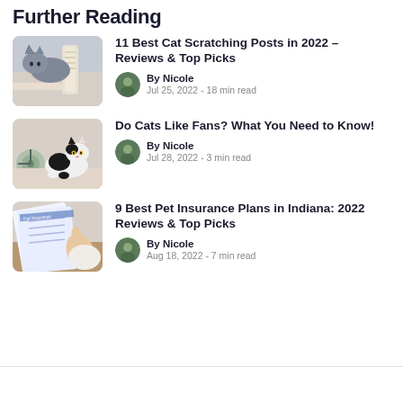Further Reading
11 Best Cat Scratching Posts in 2022 – Reviews & Top Picks
By Nicole
Jul 25, 2022 - 18 min read
Do Cats Like Fans? What You Need to Know!
By Nicole
Jul 28, 2022 - 3 min read
9 Best Pet Insurance Plans in Indiana: 2022 Reviews & Top Picks
By Nicole
Aug 18, 2022 - 7 min read